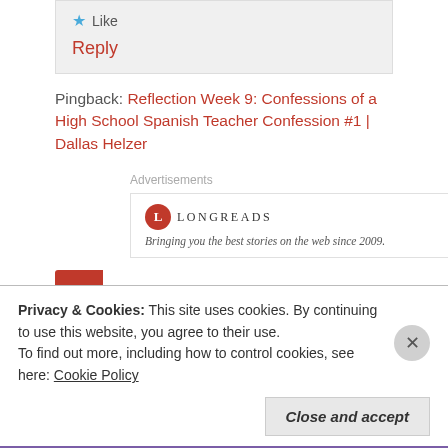★ Like
Reply
Pingback: Reflection Week 9: Confessions of a High School Spanish Teacher Confession #1 | Dallas Helzer
Advertisements
[Figure (logo): Longreads logo with red circle L icon and tagline: Bringing you the best stories on the web since 2009.]
Privacy & Cookies: This site uses cookies. By continuing to use this website, you agree to their use.
To find out more, including how to control cookies, see here: Cookie Policy
Close and accept